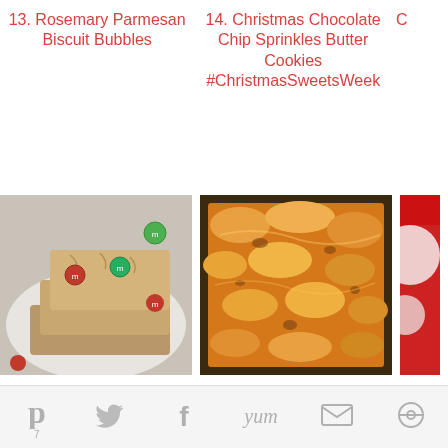13. Rosemary Parmesan Biscuit Bubbles
14. Christmas Chocolate Chip Sprinkles Butter Cookies #ChristmasSweetsWeek
[Figure (photo): Stacked cookie bars with red and green M&M candies on a white plate]
[Figure (photo): Cheesy vegetarian lasagna in a baking dish, top-down view]
[Figure (photo): Partial view of a red and white decorated item]
16. Easy Oatmeal Chocolate Chip Cookie Bar...
17. Easy Vegetarian Lasagna - The Saucy Food...
Br...
7